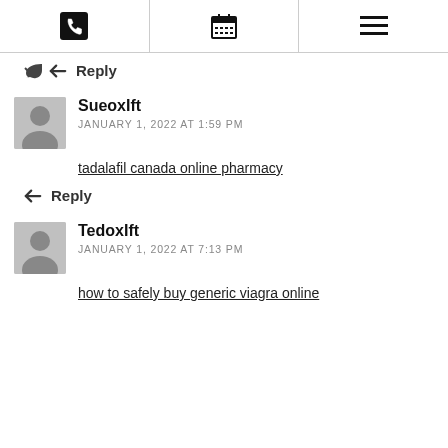Phone | Calendar | Menu
Reply
SueoxIft
JANUARY 1, 2022 AT 1:59 PM
tadalafil canada online pharmacy
Reply
TedoxIft
JANUARY 1, 2022 AT 7:13 PM
how to safely buy generic viagra online